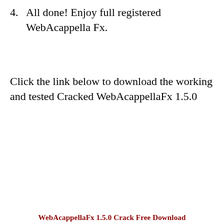4.  All done! Enjoy full registered WebAcappella Fx.
Click the link below to download the working and tested Cracked WebAcappellaFx 1.5.0
WebAcappellaFx 1.5.0 Crack Free Download